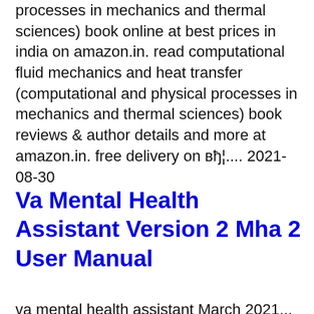processes in mechanics and thermal sciences) book online at best prices in india on amazon.in. read computational fluid mechanics and heat transfer (computational and physical processes in mechanics and thermal sciences) book reviews & author details and more at amazon.in. free delivery on вђ¦.... 2021-08-30
Va Mental Health Assistant Version 2 Mha 2 User Manual
va mental health assistant March 2021...